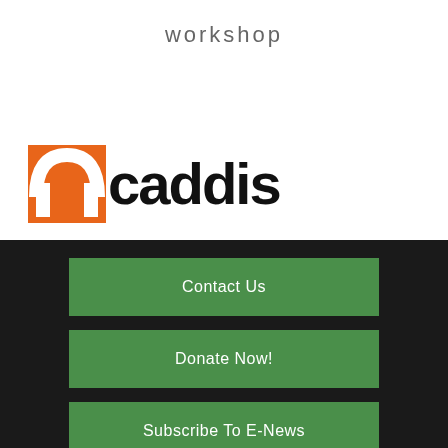workshop
[Figure (logo): Mcaddis logo with orange square M icon and bold black text reading 'caddis']
Contact Us
Donate Now!
Subscribe To E-News